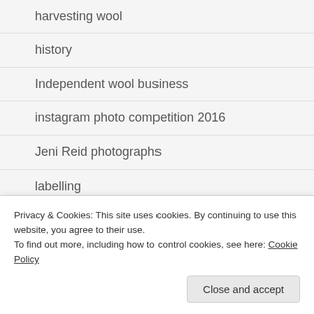harvesting wool
history
Independent wool business
instagram photo competition 2016
Jeni Reid photographs
labelling
labels
processing wool
Privacy & Cookies: This site uses cookies. By continuing to use this website, you agree to their use.
To find out more, including how to control cookies, see here: Cookie Policy